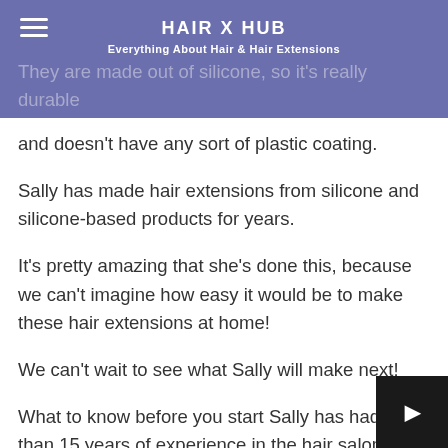HAIR X HUB
Everything About Hair & Hair Extensions
They are made out of silicone, so it's really durable and doesn't have any sort of plastic coating.
Sally has made hair extensions from silicone and silicone-based products for years.
It's pretty amazing that she's done this, because we can't imagine how easy it would be to make these hair extensions at home!
We can't wait to see what Sally will make next!
What to know before you start Sally has had more than 15 years of experience in the hair salon indu...